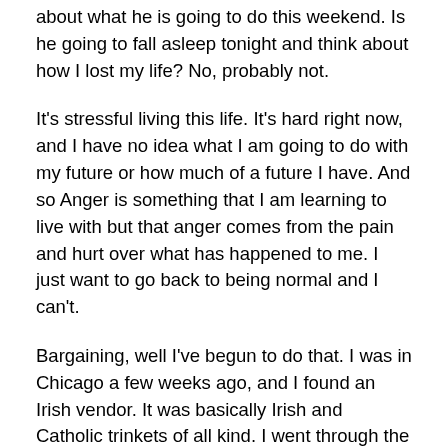about what he is going to do this weekend. Is he going to fall asleep tonight and think about how I lost my life? No, probably not.
It's stressful living this life. It's hard right now, and I have no idea what I am going to do with my future or how much of a future I have. And so Anger is something that I am learning to live with but that anger comes from the pain and hurt over what has happened to me. I just want to go back to being normal and I can't.
Bargaining, well I've begun to do that. I was in Chicago a few weeks ago, and I found an Irish vendor. It was basically Irish and Catholic trinkets of all kind. I went through the medals of all the saints, and I found the medal of St. Jude. St. Jude is the saint of lost causes, especially when dealing with health issues. So, I had to get the medal. I had to wear it daily. It didn't take long for me to